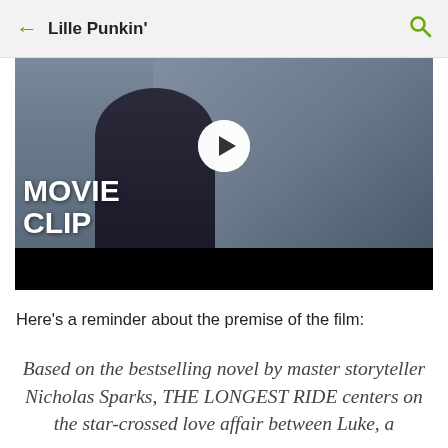← Lille Punkin' 🔍
[Figure (screenshot): Video thumbnail showing a movie clip with a person in a jacket. A play button is visible in the center. Text overlay reads 'MOVIE CLIP' in large white bold letters on the left side. The bottom portion is a black bar.]
Here's a reminder about the premise of the film:
Based on the bestselling novel by master storyteller Nicholas Sparks, THE LONGEST RIDE centers on the star-crossed love affair between Luke, a